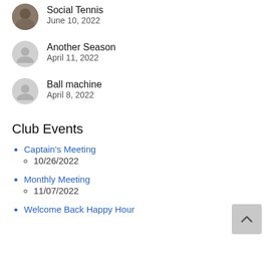Social Tennis
June 10, 2022
Another Season
April 11, 2022
Ball machine
April 8, 2022
Club Events
Captain's Meeting
10/26/2022
Monthly Meeting
11/07/2022
Welcome Back Happy Hour